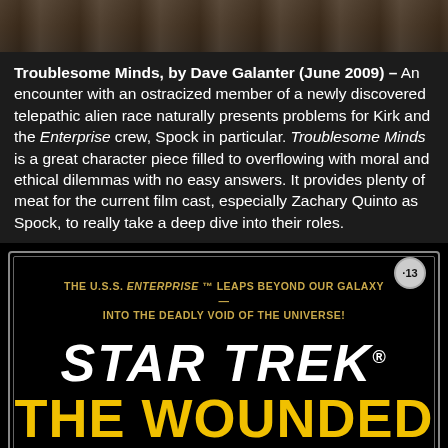[Figure (photo): Top portion of a Star Trek related image, partially cropped at the top of the page]
Troublesome Minds, by Dave Galanter (June 2009) – An encounter with an ostracized member of a newly discovered telepathic alien race naturally presents problems for Kirk and the Enterprise crew, Spock in particular. Troublesome Minds is a great character piece filled to overflowing with moral and ethical dilemmas with no easy answers. It provides plenty of meat for the current film cast, especially Zachary Quinto as Spock, to really take a deep dive into their roles.
[Figure (photo): Star Trek book cover: The Wounded Sky, numbered 13. Black cover with gold/yellow text. Subtitle reads: THE U.S.S. ENTERPRISE TM LEAPS BEYOND OUR GALAXY—INTO THE DEADLY VOID OF THE UNIVERSE!]